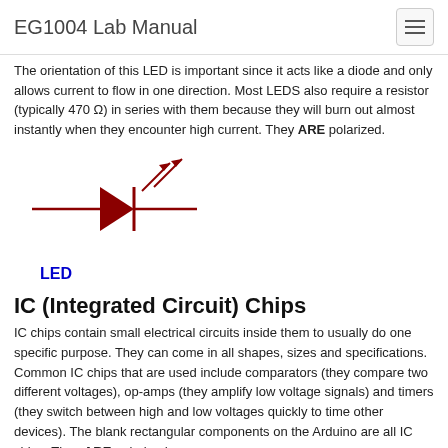EG1004 Lab Manual
The orientation of the LED is important since it acts like a diode and only allows current to flow in one direction. Most LEDS also require a resistor (typically 470 Ω) in series with them because they will burn out almost instantly when they encounter high current. They ARE polarized.
[Figure (schematic): LED circuit symbol: a diode triangle pointing right with a vertical bar, two diagonal arrows pointing up-right representing emitted light, and horizontal lines on left and right for connections. Label 'LED' below in blue.]
IC (Integrated Circuit) Chips
IC chips contain small electrical circuits inside them to usually do one specific purpose. They can come in all shapes, sizes and specifications. Common IC chips that are used include comparators (they compare two different voltages), op-amps (they amplify low voltage signals) and timers (they switch between high and low voltages quickly to time other devices). The blank rectangular components on the Arduino are all IC chips. They ARE polarized.